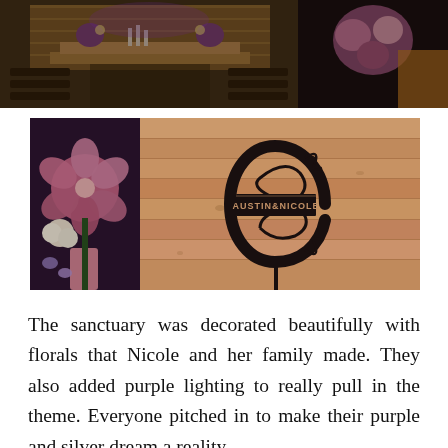[Figure (photo): Top-left photo: church/barn sanctuary interior with wooden walls, altar, rows of pews, and purple lighting with floral arrangements]
[Figure (photo): Top-right photo: close-up of floral arrangement with pink/purple flowers and dark fabric]
[Figure (photo): Bottom-left photo: close-up of pink and purple floral arrangement with ribbon]
[Figure (photo): Bottom-right photo: wooden plank wall with a black metal monogram sign featuring a large decorative C with Austin & Nicole text]
The sanctuary was decorated beautifully with florals that Nicole and her family made. They also added purple lighting to really pull in the theme. Everyone pitched in to make their purple and silver dream a reality.